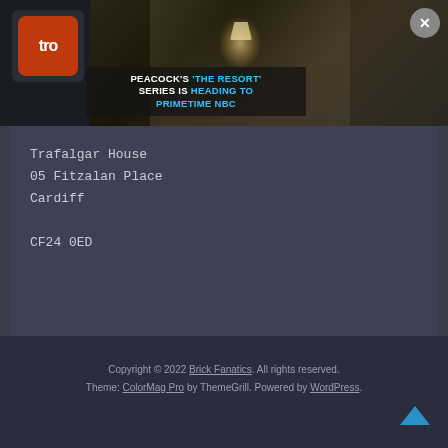[Figure (screenshot): Video advertisement banner showing a hotel room scene with Peacock streaming ad overlay text reading PEACOCK'S 'THE RESORT' SERIES IS HEADING TO PRIMETIME NBC, with a tro.mi logo on the left and a close X button in the upper right corner.]
Trafalgar House
05 Fitzalan Place
Cardiff

CF24 0ED
Copyright © 2022 Brick Fanatics. All rights reserved.
Theme: ColorMag Pro by ThemeGrill. Powered by WordPress.